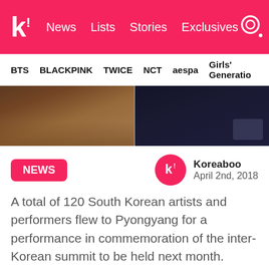k! News Lists Stories Exclusives
BTS BLACKPINK TWICE NCT aespa Girls' Generation
[Figure (photo): Hero banner image showing two people, split into two panels. Left panel shows a person in a colorful setting with warm tones. Right panel shows a person in dark clothing against a dark background.]
NEWS
Koreaboo
April 2nd, 2018
A total of 120 South Korean artists and performers flew to Pyongyang for a performance in commemoration of the inter-Korean summit to be held next month.
[Figure (photo): Bottom image showing what appears to be an interior room/hallway with ceiling lights, split into three panels with a muted yellow-beige color palette.]